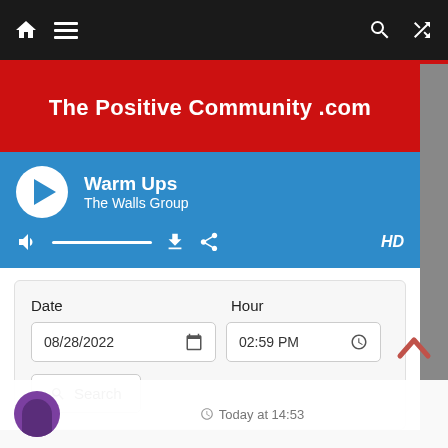Navigation bar with home, menu, search, and shuffle icons
The Positive Community .com
Warm Ups — The Walls Group (audio player with play button, volume, download, share, HD)
Date: 08/28/2022  Hour: 02:59 PM
Search
Today at 14:53